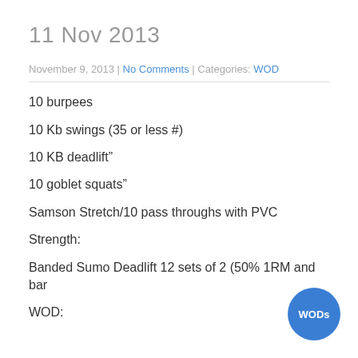11 Nov 2013
November 9, 2013 | No Comments | Categories: WOD
10 burpees
10 Kb swings (35 or less #)
10 KB deadlift”
10 goblet squats”
Samson Stretch/10 pass throughs with PVC
Strength:
Banded Sumo Deadlift 12 sets of 2 (50% 1RM and bar
WOD: